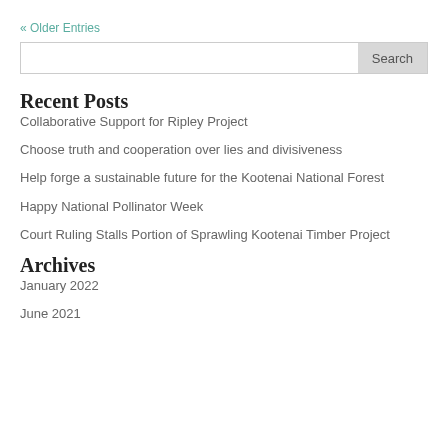« Older Entries
Recent Posts
Collaborative Support for Ripley Project
Choose truth and cooperation over lies and divisiveness
Help forge a sustainable future for the Kootenai National Forest
Happy National Pollinator Week
Court Ruling Stalls Portion of Sprawling Kootenai Timber Project
Archives
January 2022
June 2021